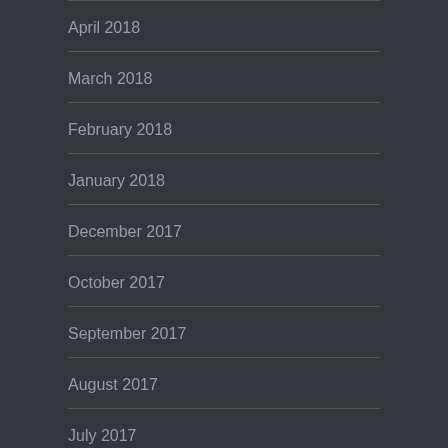April 2018
March 2018
February 2018
January 2018
December 2017
October 2017
September 2017
August 2017
July 2017
May 2017
April 2017